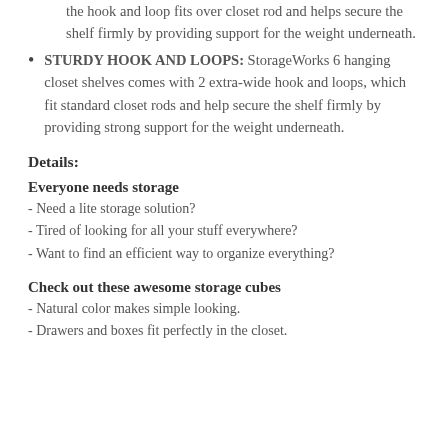the hook and loop fits over closet rod and helps secure the shelf firmly by providing support for the weight underneath.
STURDY HOOK AND LOOPS: StorageWorks 6 hanging closet shelves comes with 2 extra-wide hook and loops, which fit standard closet rods and help secure the shelf firmly by providing strong support for the weight underneath.
Details:
Everyone needs storage
- Need a lite storage solution?
- Tired of looking for all your stuff everywhere?
- Want to find an efficient way to organize everything?
Check out these awesome storage cubes
- Natural color makes simple looking.
- Drawers and boxes fit perfectly in the closet.